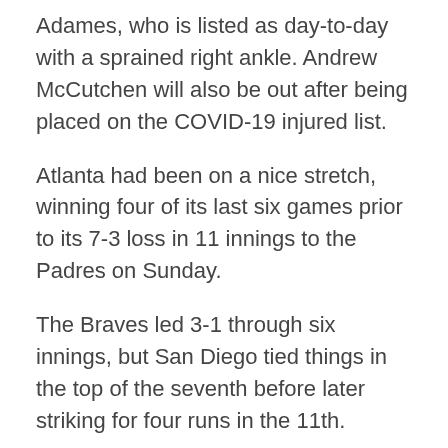Adames, who is listed as day-to-day with a sprained right ankle. Andrew McCutchen will also be out after being placed on the COVID-19 injured list.
Atlanta had been on a nice stretch, winning four of its last six games prior to its 7-3 loss in 11 innings to the Padres on Sunday.
The Braves led 3-1 through six innings, but San Diego tied things in the top of the seventh before later striking for four runs in the 11th.
Despite the loss, Atlanta starter Kyle